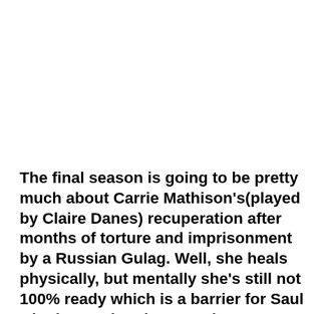The final season is going to be pretty much about Carrie Mathison's(played by Claire Danes) recuperation after months of torture and imprisonment by a Russian Gulag. Well, she heals physically, but mentally she's still not 100% ready which is a barrier for Saul who is appointed as NSA by new President Warner. And currently, the foremost job for him is to maintain peace and end the never-ending war that the USA has waged against militant forces in Afghanistan. But to accomplish all of this Saul needs contacts and expertise which only Carrie knows of and can